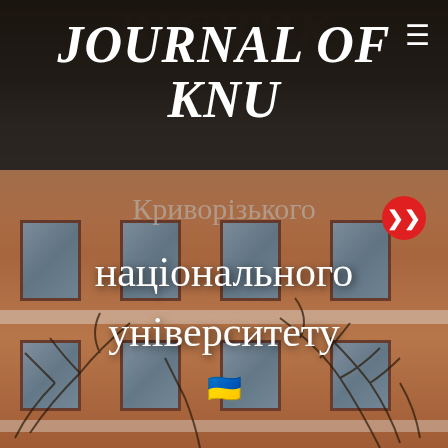ВІСНИК
JOURNAL OF KNU
Криворізького
національного
університету
[Figure (photo): Photograph of a brick university building facade with windows, overlaid with journal title text and Ukrainian text. A Ukrainian flag emoji is visible in the center.]